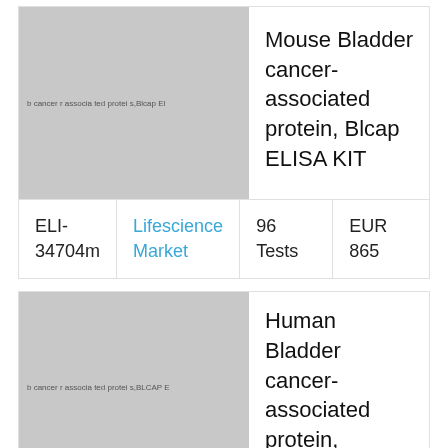[Figure (photo): Placeholder image for Mouse Bladder cancer-associated protein, Blcap ELISA KIT product]
Mouse Bladder cancer- associated protein, Blcap ELISA KIT
| ID | Supplier | Quantity | Price |
| --- | --- | --- | --- |
| ELI-34704m | Lifescience Market | 96 Tests | EUR 865 |
[Figure (photo): Placeholder image for Human Bladder cancer-associated protein, BLCAP ELISA KIT product]
Human Bladder cancer- associated protein, BLCAP ELISA KIT